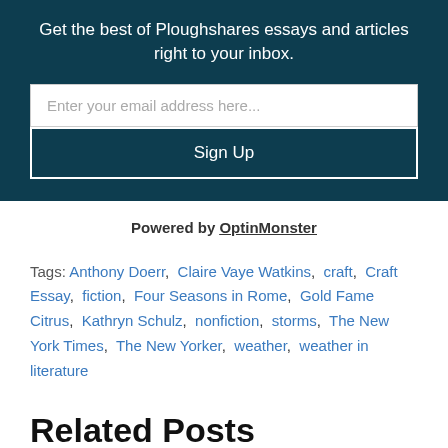Get the best of Ploughshares essays and articles right to your inbox.
Enter your email address here...
Sign Up
Powered by OptinMonster
Tags: Anthony Doerr, Claire Vaye Watkins, craft, Craft Essay, fiction, Four Seasons in Rome, Gold Fame Citrus, Kathryn Schulz, nonfiction, storms, The New York Times, The New Yorker, weather, weather in literature
Related Posts